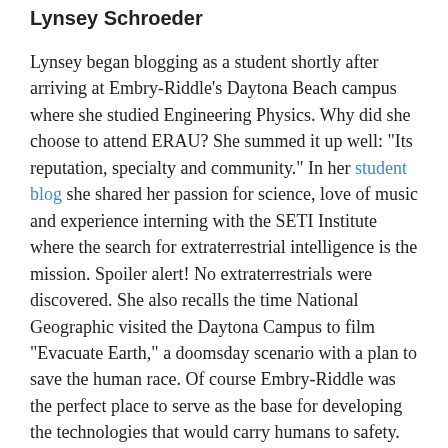Lynsey Schroeder
Lynsey began blogging as a student shortly after arriving at Embry-Riddle's Daytona Beach campus where she studied Engineering Physics. Why did she choose to attend ERAU? She summed it up well: “Its reputation, specialty and community.” In her student blog she shared her passion for science, love of music and experience interning with the SETI Institute where the search for extraterrestrial intelligence is the mission. Spoiler alert! No extraterrestrials were discovered. She also recalls the time National Geographic visited the Daytona Campus to film “Evacuate Earth,” a doomsday scenario with a plan to save the human race. Of course Embry-Riddle was the perfect place to serve as the base for developing the technologies that would carry humans to safety.
She earned both a bachelor’s and a master’s degree through the accelerated program.  In 2014, Lynsey was